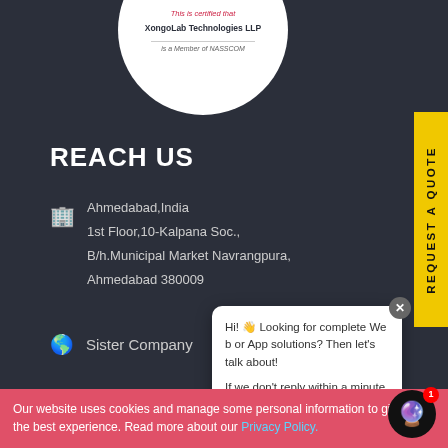[Figure (logo): XongoLab Technologies LLP company logo circle with certification text and NASSCOM member badge]
REACH US
Ahmedabad,India
1st Floor,10-Kalpana Soc.,
B/h.Municipal Market Navrangpura,
Ahmedabad 380009
Sister Company
[Figure (other): REQUEST A QUOTE vertical yellow tab on right side]
[Figure (screenshot): Chat popup: Hi! Looking for complete Web or App solutions? Then let's talk about! If we don't reply within a minute.]
Our website uses cookies and manage some personal information to give you the best experience. Read more about our Privacy Policy.